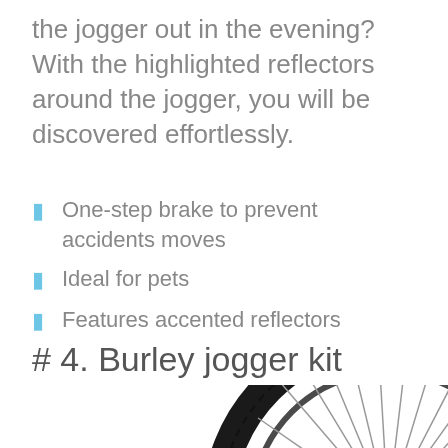the jogger out in the evening? With the highlighted reflectors around the jogger, you will be discovered effortlessly.
One-step brake to prevent accidents moves
Ideal for pets
Features accented reflectors
# 4. Burley jogger kit
[Figure (photo): A bicycle wheel with black tire and spokes, partially visible at the bottom right of the page.]